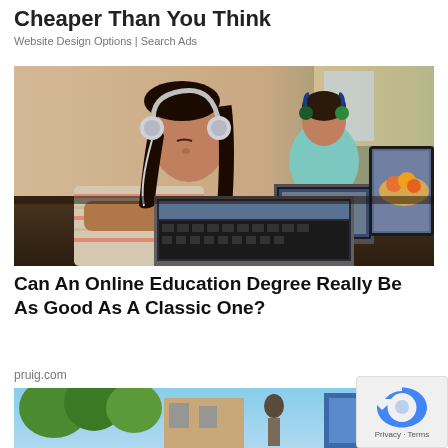Cheaper Than You Think
Website Design Options | Search Ads
[Figure (photo): Two children wearing headphones using laptops at a table, learning online. One girl in foreground in striped shirt with white headphones, another child in background with blue/green headphones and laptop.]
Can An Online Education Degree Really Be As Good As A Classic One?
pruig.com
[Figure (photo): Partial image of outdoor scene with people, bottom of page.]